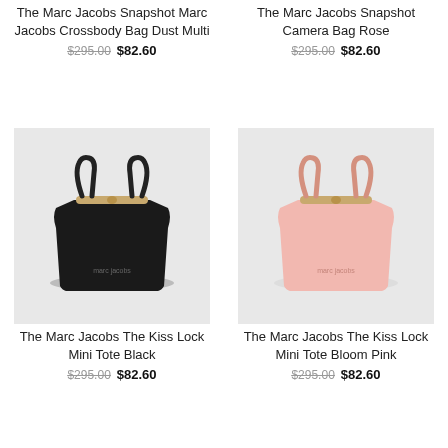The Marc Jacobs Snapshot Marc Jacobs Crossbody Bag Dust Multi
$295.00 $82.60
The Marc Jacobs Snapshot Camera Bag Rose
$295.00 $82.60
[Figure (photo): Black Marc Jacobs The Kiss Lock Mini Tote bag on light grey background]
The Marc Jacobs The Kiss Lock Mini Tote Black
$295.00 $82.60
[Figure (photo): Pink Marc Jacobs The Kiss Lock Mini Tote bag on light grey background]
The Marc Jacobs The Kiss Lock Mini Tote Bloom Pink
$295.00 $82.60